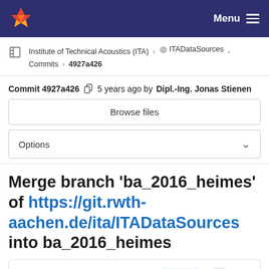Menu
Institute of Technical Acoustics (ITA) > ITADataSources > Commits > 4927a426
Commit 4927a426  5 years ago by Dipl.-Ing. Jonas Stienen
Browse files
Options
Merge branch 'ba_2016_heimes' of https://git.rwth-aachen.de/ita/ITADataSources into ba_2016_heimes
parents 0e455385 dc1fb0c0  master  ...